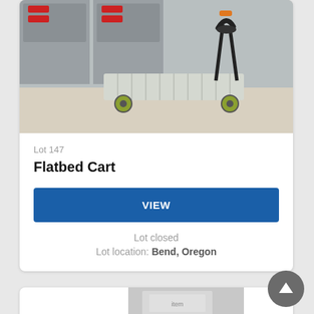[Figure (photo): Photo of a flatbed cart with metal platform, yellow wheels, and black handle, positioned in a room with grey filing cabinets in the background.]
Lot 147
Flatbed Cart
VIEW
Lot closed
Lot location: Bend, Oregon
[Figure (photo): Partial photo of another auction lot item, visible at the bottom of the page.]